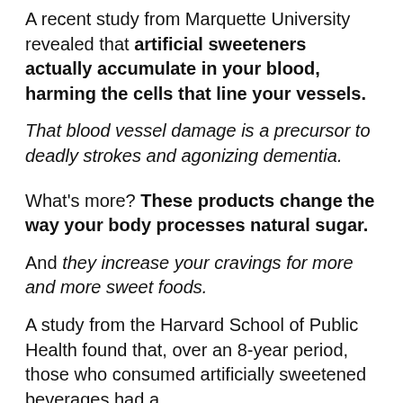A recent study from Marquette University revealed that artificial sweeteners actually accumulate in your blood, harming the cells that line your vessels.
That blood vessel damage is a precursor to deadly strokes and agonizing dementia.
What's more? These products change the way your body processes natural sugar.
And they increase your cravings for more and more sweet foods.
A study from the Harvard School of Public Health found that, over an 8-year period, those who consumed artificially sweetened beverages had a